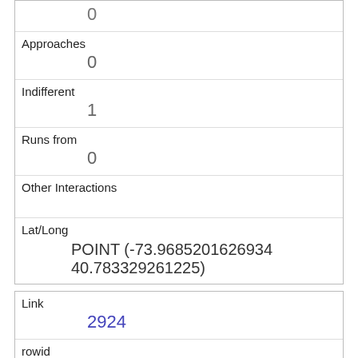|  | 0 |
| Approaches | 0 |
| Indifferent | 1 |
| Runs from | 0 |
| Other Interactions |  |
| Lat/Long | POINT (-73.9685201626934 40.783329261225) |
| Link | 2924 |
| rowid | 2924 |
| longitude | -73.9727230609785 |
| latitude | 40.7795341640894 |
| Unique Squirrel ID |  |